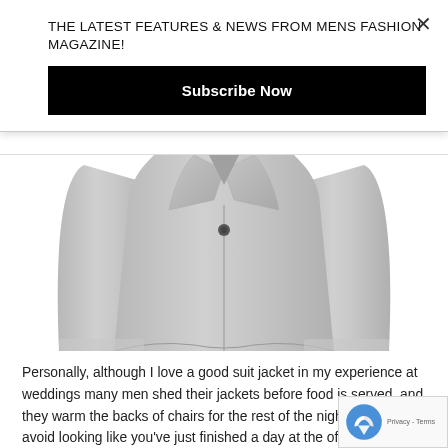THE LATEST FEATURES & NEWS FROM MENS FASHION MAGAZINE!
Subscribe Now
[Figure (photo): Grey suit jacket / blazer on white background, showing front button detail and lapels]
Personally, although I love a good suit jacket in my experience at weddings many men shed their jackets before food is served, and they warm the backs of chairs for the rest of the night. A way to avoid looking like you've just finished a day at the office and keep a smart and dapper look, especially at a hot summer wee to opt for a waistcoat instead. Oliver Spencer offer a grey twill waistcoat, pair it with black trousers, a white shirt and coloured tie for a smart, summer look. Topman offer some